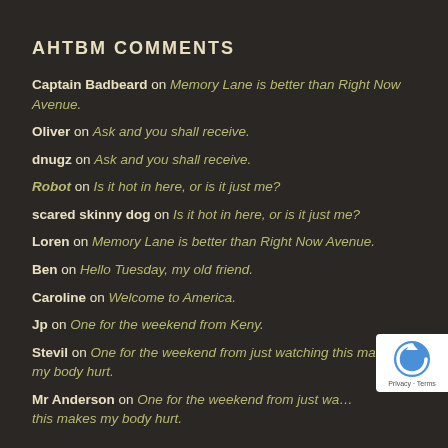AHTBM COMMENTS
Captain Badbeard on Memory Lane is better than Right Now Avenue.
Oliver on Ask and you shall receive.
dnugz on Ask and you shall receive.
Robot on Is it hot in here, or is it just me?
scared skinny dog on Is it hot in here, or is it just me?
Loren on Memory Lane is better than Right Now Avenue.
Ben on Hello Tuesday, my old friend.
Caroline on Welcome to America.
Jp on One for the weekend from Keny.
Stevil on One for the weekend from just watching this makes my body hurt.
Mr Anderson on One for the weekend from just watching this makes my body hurt.